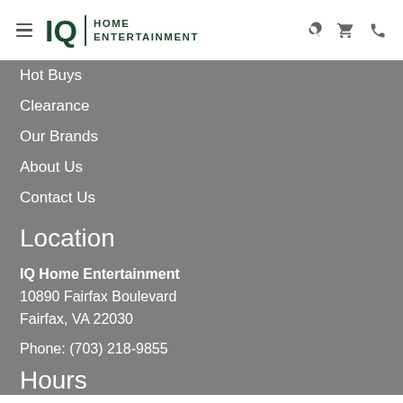[Figure (logo): IQ Home Entertainment logo with hamburger menu and header icons (search, cart, phone)]
Hot Buys
Clearance
Our Brands
About Us
Contact Us
Location
IQ Home Entertainment
10890 Fairfax Boulevard
Fairfax, VA 22030
Phone: (703) 218-9855
Hours